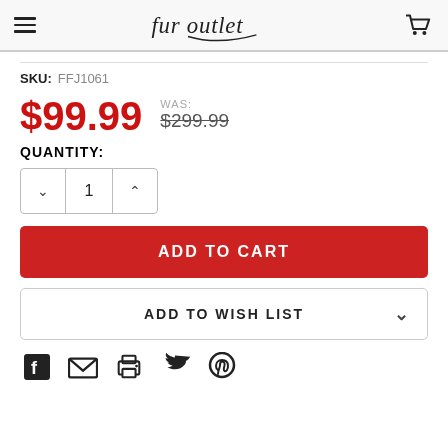fur outlet — navigation header with hamburger menu and cart icon
SKU: FFJ1061
$99.99 WAS: $299.99
QUANTITY:
1
ADD TO CART
ADD TO WISH LIST
[Figure (illustration): Social share icons: Facebook, Email, Print, Twitter, Pinterest]